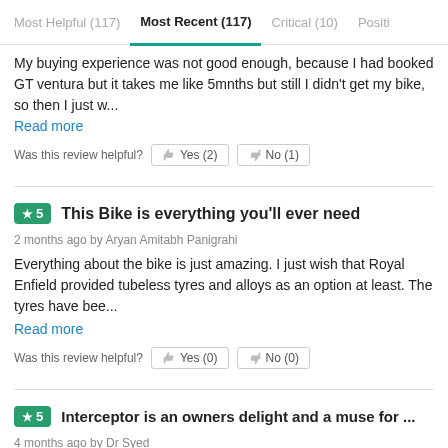Most Helpful (117) | Most Recent (117) | Critical (10) | Positi...
My buying experience was not good enough, because I had booked GT ventura but it takes me like 5mnths but still I didn't get my bike, so then I just w...
Read more
Was this review helpful? Yes (2) No (1)
★5 This Bike is everything you'll ever need
2 months ago by Aryan Amitabh Panigrahi
Everything about the bike is just amazing. I just wish that Royal Enfield provided tubeless tyres and alloys as an option at least. The tyres have bee...
Read more
Was this review helpful? Yes (0) No (0)
★5 Interceptor is an owners delight and a muse for ...
4 months ago by Dr Syed
Purchased the bike before the covid19 pandemic and used it for 25kms per day riding to work. Enjoyed the power it had behind the throttle. The engine ...